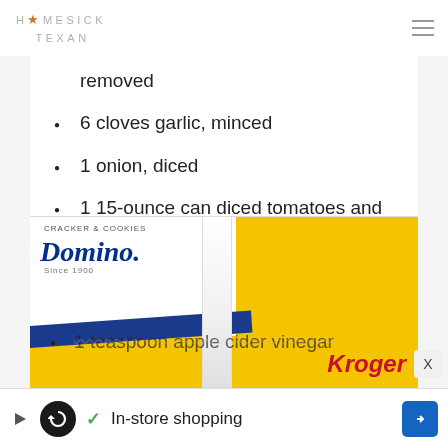HOMESICK TEXAN
removed
6 cloves garlic, minced
1 onion, diced
1 15-ounce can diced tomatoes and their juices
1 teaspoon
[Figure (photo): Domino sugar advertisement banner with Kroger branding, yellow background with blue diagonal stripe and white panel showing Domino script logo]
1 teaspoon apple cider vinegar
✓ In-store shopping